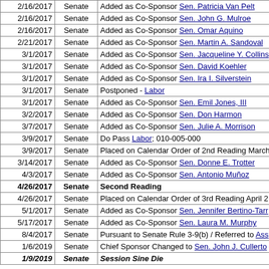| Date | Chamber | Action |
| --- | --- | --- |
| 2/16/2017 | Senate | Added as Co-Sponsor Sen. Patricia Van Pelt |
| 2/16/2017 | Senate | Added as Co-Sponsor Sen. John G. Mulroe |
| 2/16/2017 | Senate | Added as Co-Sponsor Sen. Omar Aquino |
| 2/21/2017 | Senate | Added as Co-Sponsor Sen. Martin A. Sandoval |
| 3/1/2017 | Senate | Added as Co-Sponsor Sen. Jacqueline Y. Collins |
| 3/1/2017 | Senate | Added as Co-Sponsor Sen. David Koehler |
| 3/1/2017 | Senate | Added as Co-Sponsor Sen. Ira I. Silverstein |
| 3/1/2017 | Senate | Postponed - Labor |
| 3/1/2017 | Senate | Added as Co-Sponsor Sen. Emil Jones, III |
| 3/2/2017 | Senate | Added as Co-Sponsor Sen. Don Harmon |
| 3/7/2017 | Senate | Added as Co-Sponsor Sen. Julie A. Morrison |
| 3/9/2017 | Senate | Do Pass Labor; 010-005-000 |
| 3/9/2017 | Senate | Placed on Calendar Order of 2nd Reading March |
| 3/14/2017 | Senate | Added as Co-Sponsor Sen. Donne E. Trotter |
| 4/3/2017 | Senate | Added as Co-Sponsor Sen. Antonio Muñoz |
| 4/26/2017 | Senate | Second Reading |
| 4/26/2017 | Senate | Placed on Calendar Order of 3rd Reading April 2 |
| 5/1/2017 | Senate | Added as Co-Sponsor Sen. Jennifer Bertino-Tarr |
| 5/17/2017 | Senate | Added as Co-Sponsor Sen. Laura M. Murphy |
| 8/4/2017 | Senate | Pursuant to Senate Rule 3-9(b) / Referred to Ass |
| 1/6/2019 | Senate | Chief Sponsor Changed to Sen. John J. Cullerto |
| 1/9/2019 | Senate | Session Sine Die |